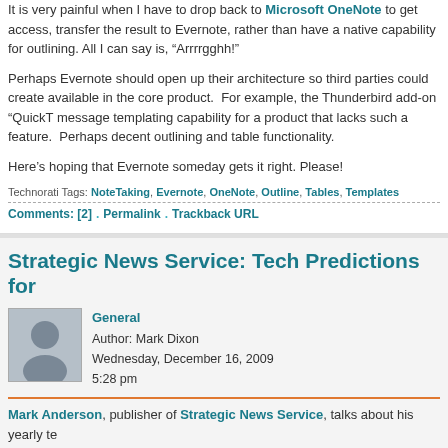It is very painful when I have to drop back to Microsoft OneNote to get access, transfer the result to Evernote, rather than have a native capability for outlining. All I can say is, “Arrrrgghh!”
Perhaps Evernote should open up their architecture so third parties could create available in the core product. For example, the Thunderbird add-on “QuickT message templating capability for a product that lacks such a feature. Perhaps decent outlining and table functionality.
Here’s hoping that Evernote someday gets it right. Please!
Technorati Tags: NoteTaking, Evernote, OneNote, Outline, Tables, Templates
Comments: [2] . Permalink . Trackback URL
Strategic News Service: Tech Predictions for
General
Author: Mark Dixon
Wednesday, December 16, 2009
5:28 pm
Mark Anderson, publisher of Strategic News Service, talks about his yearly te Business Week library video. An overriding theme seems to be that consume getting, highly personalized, context-aware, mobile services and content. This d hardware platforms, operating systems, media distribution and pricing, and netw am involved with at Sun is focused directly on these major shifts in markets and with large, market changing opportunities.